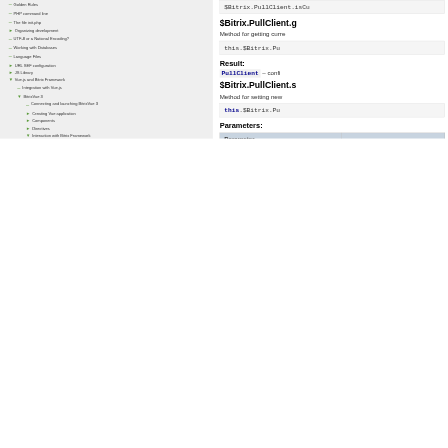– Golden Rules
– PHP command line
– The file init.php
▶ Organizing development
– UTF-8 or a National Encoding?
– Working with Databases
– Language Files
▶ URL SEF configuration
▶ JS Library
▼ Vue.js and Bitrix Framework
– Integration with Vue.js
▼ BitrixVue 3
– Connecting and launching BitrixVue 3
▶ Creating Vue application
▶ Components
▶ Directives
▼ Interaction with Bitrix Framework
– Class for context forwarding
– Class for handling localizations
$Bitrix.PullClient.g
Method for getting curre
this.$Bitrix.Pu
Result:
PullClient – confi
$Bitrix.PullClient.s
Method for setting new
this.$Bitrix.Pu
Parameters:
| Parameter |  |
| --- | --- |
| instance | PullClien |